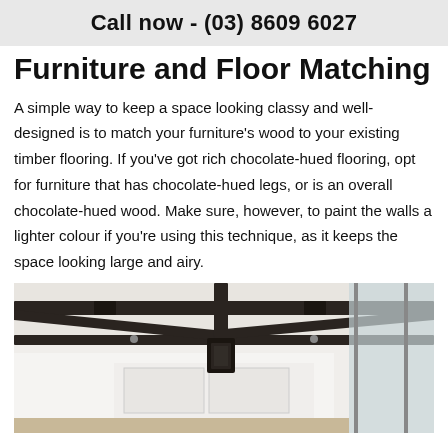Call now - (03) 8609 6027
Furniture and Floor Matching
A simple way to keep a space looking classy and well-designed is to match your furniture’s wood to your existing timber flooring. If you’ve got rich chocolate-hued flooring, opt for furniture that has chocolate-hued legs, or is an overall chocolate-hued wood. Make sure, however, to paint the walls a lighter colour if you’re using this technique, as it keeps the space looking large and airy.
[Figure (photo): Interior room photo showing dark steel/iron beam ceiling structure with pendant light fixture, bright white walls, kitchen visible in background, and glass sliding doors on the right.]